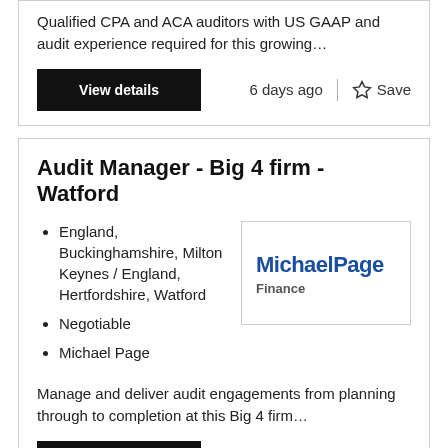Qualified CPA and ACA auditors with US GAAP and audit experience required for this growing…
6 days ago
Save
Audit Manager - Big 4 firm - Watford
England, Buckinghamshire, Milton Keynes / England, Hertfordshire, Watford
Negotiable
Michael Page
[Figure (logo): Michael Page Finance logo — blue bold text 'MichaelPage' with 'Finance' in grey below]
Manage and deliver audit engagements from planning through to completion at this Big 4 firm…